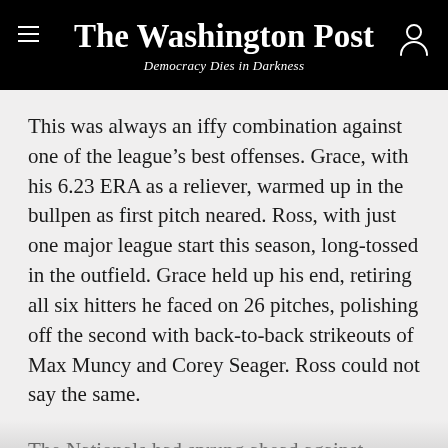The Washington Post
Democracy Dies in Darkness
This was always an iffy combination against one of the league’s best offenses. Grace, with his 6.23 ERA as a reliever, warmed up in the bullpen as first pitch neared. Ross, with just one major league start this season, long-tossed in the outfield. Grace held up his end, retiring all six hitters he faced on 26 pitches, polishing off the second with back-to-back strikeouts of Max Muncy and Corey Seager. Ross could not say the same.
The Nationals had sprung ahead against Kershaw, plating two quick runs in the top of the first. But the